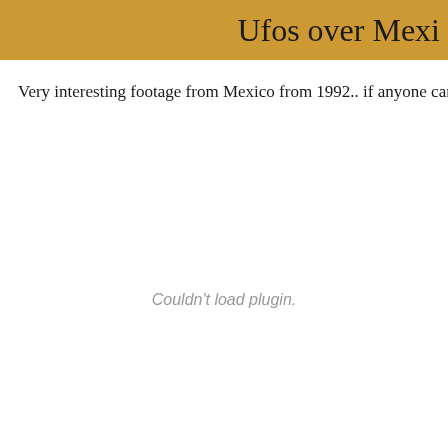Ufos over Mexi
Very interesting footage from Mexico from 1992.. if anyone can provide a tra
Couldn't load plugin.